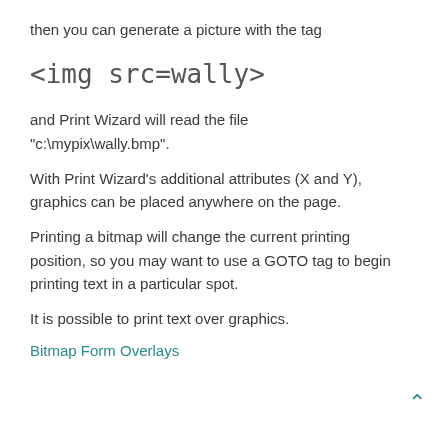then you can generate a picture with the tag
and Print Wizard will read the file "c:\mypix\wally.bmp".
With Print Wizard’s additional attributes (X and Y), graphics can be placed anywhere on the page.
Printing a bitmap will change the current printing position, so you may want to use a GOTO tag to begin printing text in a particular spot.
It is possible to print text over graphics.
Bitmap Form Overlays